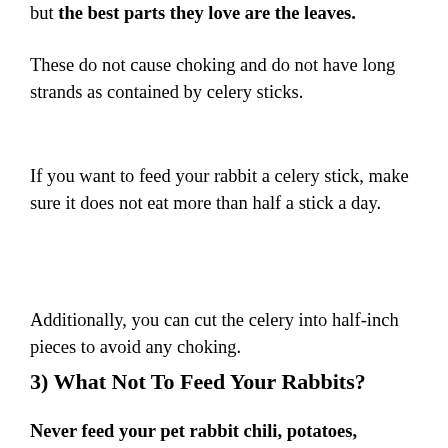but the best parts they love are the leaves.
These do not cause choking and do not have long strands as contained by celery sticks.
If you want to feed your rabbit a celery stick, make sure it does not eat more than half a stick a day.
Additionally, you can cut the celery into half-inch pieces to avoid any choking.
3) What Not To Feed Your Rabbits?
Never feed your pet rabbit chili, potatoes,